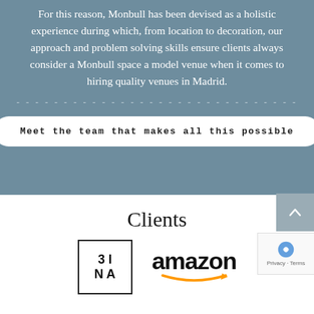For this reason, Monbull has been devised as a holistic experience during which, from location to decoration, our approach and problem solving skills ensure clients always consider a Monbull space a model venue when it comes to hiring quality venues in Madrid.
Meet the team that makes all this possible
Clients
[Figure (logo): 3MINA brand logo in a square border]
[Figure (logo): Amazon logo with smile arrow]